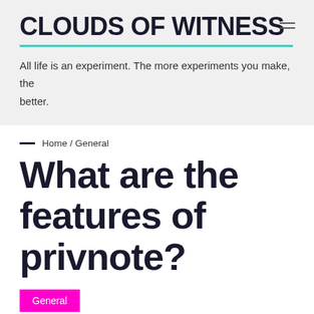CLOUDS OF WITNESS
All life is an experiment. The more experiments you make, the better.
Home / General
What are the features of privnote?
General